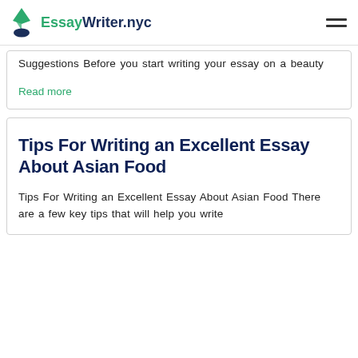EssayWriter.nyc
Suggestions Before you start writing your essay on a beauty
Read more
Tips For Writing an Excellent Essay About Asian Food
Tips For Writing an Excellent Essay About Asian Food There are a few key tips that will help you write